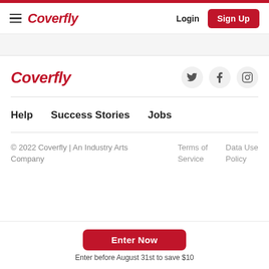Coverfly — Login | Sign Up
[Figure (logo): Coverfly logo in red italic bold text in the footer section]
[Figure (infographic): Social media icons: Twitter bird, Facebook f, Instagram camera — each in a light gray circle]
Help
Success Stories
Jobs
© 2022 Coverfly | An Industry Arts Company   Terms of Service   Data Use Policy
Enter Now
Enter before August 31st to save $10